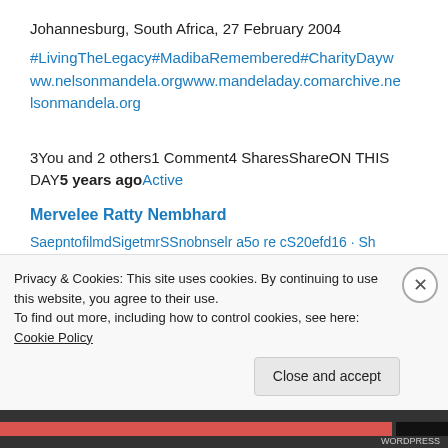Johannesburg, South Africa, 27 February 2004
#LivingTheLegacy#MadibaRemembered#CharityDaywww.nelsonmandela.orgwww.mandeladay.comarchive.nelsonmandela.org
3You and 2 others1 Comment4 SharesShareON THIS DAY5 years agoActive
Mervelee Ratty Nembhard
SaepntofilmdSigetmrSSnobnselr a5o re cS20efd16  · Sh
Privacy & Cookies: This site uses cookies. By continuing to use this website, you agree to their use.
To find out more, including how to control cookies, see here: Cookie Policy
Close and accept